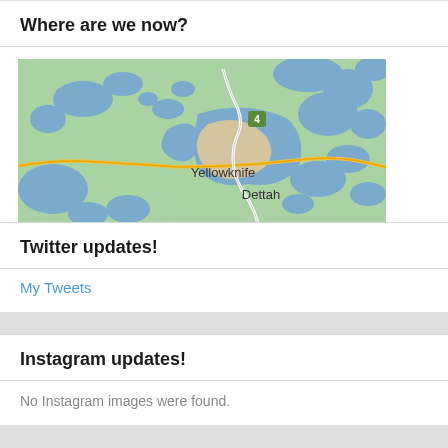Where are we now?
[Figure (map): Google Maps view showing Yellowknife and Dettah area in Canada's Northwest Territories, with water bodies shown in blue, land in green, a yellow road running horizontally, a white road running diagonally, and a green highway marker labeled '4'. City labels: Yellowknife and Dettah.]
Twitter updates!
My Tweets
Instagram updates!
No Instagram images were found.